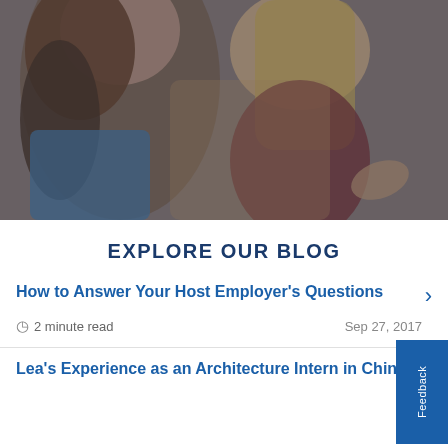[Figure (photo): Two young women leaning over something, one with curly brown hair wearing a denim jacket, one with straight blonde hair wearing a dark red top, with a blue-tinted overlay on the image.]
EXPLORE OUR BLOG
How to Answer Your Host Employer's Questions
2 minute read   Sep 27, 2017
Lea's Experience as an Architecture Intern in China